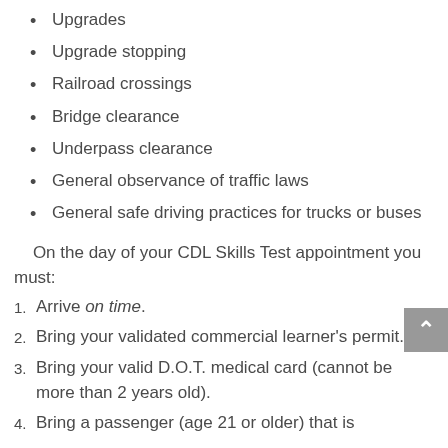Upgrades
Upgrade stopping
Railroad crossings
Bridge clearance
Underpass clearance
General observance of traffic laws
General safe driving practices for trucks or buses
On the day of your CDL Skills Test appointment you must:
Arrive on time.
Bring your validated commercial learner's permit.
Bring your valid D.O.T. medical card (cannot be more than 2 years old).
Bring a passenger (age 21 or older) that is